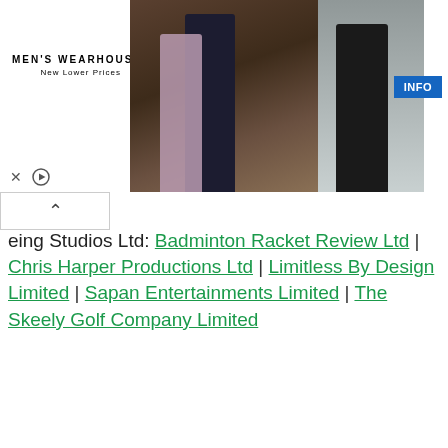[Figure (photo): Men's Wearhouse advertisement banner showing a couple in formal wear and a man in a suit, with INFO button]
eing Studios Ltd: Badminton Racket Review Ltd | Chris Harper Productions Ltd | Limitless By Design Limited | Sapan Entertainments Limited | The Skeely Golf Company Limited
This Inspire Wellbeing Studios Ltd firm has been on the market for three years, as it's been founded in 2013. Started with registration number 08828770, Inspire Wellbeing Studios is a PLC located in 4 Butterbergh, Lancaster LA2 7FG. The company is classified under the NACe and SiC code 93130 which means Fitness facilities.

As mentioned in the following company's employees data, for three years there have been two directors: Diane Louise Armstrong and Clare Louise Robinson.